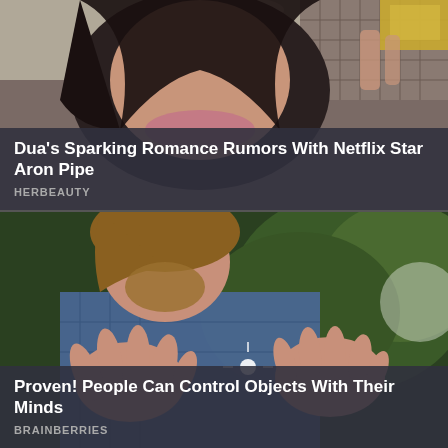[Figure (photo): Close-up photo of a young woman with dark hair and prominent lips, holding something gold-colored, indoor setting with tiled wall]
Dua's Sparking Romance Rumors With Netflix Star Aron Pipe
HERBEAUTY
[Figure (photo): Man with shoulder-length hair gesturing with both hands spread open, wearing a blue plaid shirt, with green plants in background]
Proven! People Can Control Objects With Their Minds
BRAINBERRIES